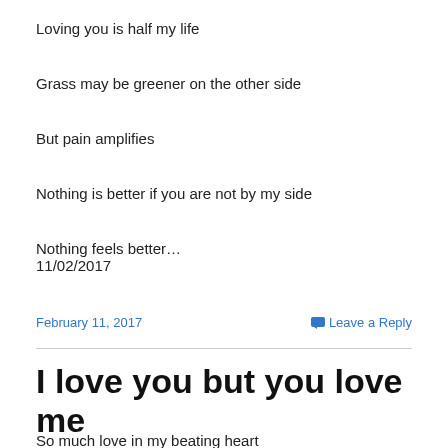Loving you is half my life
Grass may be greener on the other side
But pain amplifies
Nothing is better if you are not by my side
Nothing feels better…
11/02/2017
February 11, 2017      Leave a Reply
I love you but you love me more....
So much love in my beating heart